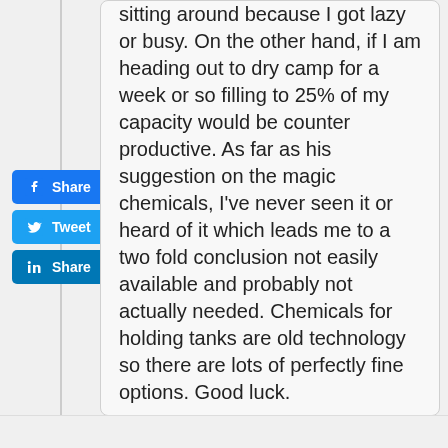sitting around because I got lazy or busy. On the other hand, if I am heading out to dry camp for a week or so filling to 25% of my capacity would be counter productive. As far as his suggestion on the magic chemicals, I've never seen it or heard of it which leads me to a two fold conclusion not easily available and probably not actually needed. Chemicals for holding tanks are old technology so there are lots of perfectly fine options. Good luck.
[Figure (other): Social share buttons: Facebook Share, Twitter Tweet, LinkedIn Share]